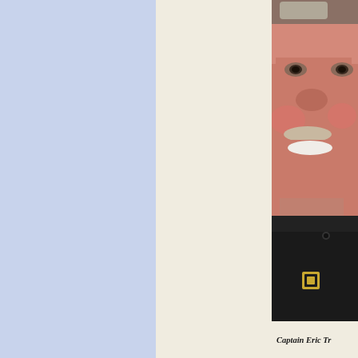[Figure (photo): Portrait photo of a middle-aged male officer with a mustache, smiling, wearing a black uniform with gold insignia. Only the right portion of the photo is visible.]
Captain Eric Tr